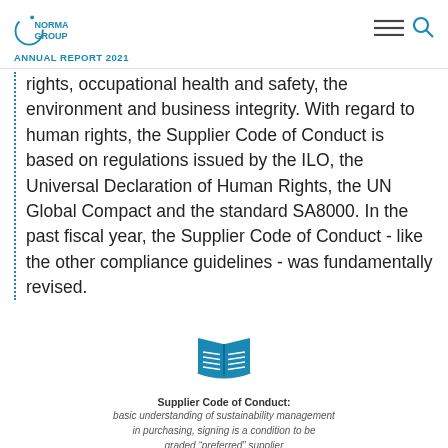NORMA GROUP ANNUAL REPORT 2021
rights, occupational health and safety, the environment and business integrity. With regard to human rights, the Supplier Code of Conduct is based on regulations issued by the ILO, the Universal Declaration of Human Rights, the UN Global Compact and the standard SA8000. In the past fiscal year, the Supplier Code of Conduct - like the other compliance guidelines - was fundamentally revised.
[Figure (illustration): Blue open book icon representing the Supplier Code of Conduct]
Supplier Code of Conduct: basic understanding of sustainability management in purchasing, signing is a condition to be graded “preferred” supplier